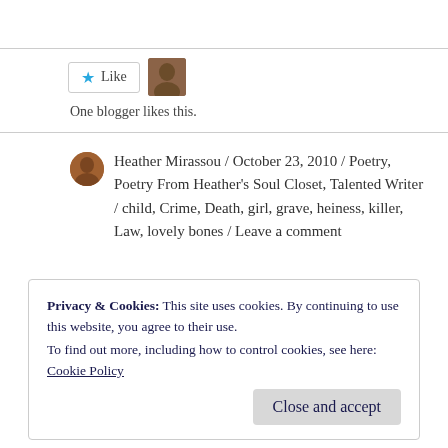[Figure (other): Like button with blue star and 'Like' text, followed by a small user avatar thumbnail]
One blogger likes this.
Heather Mirassou / October 23, 2010 / Poetry, Poetry From Heather's Soul Closet, Talented Writer / child, Crime, Death, girl, grave, heiness, killer, Law, lovely bones / Leave a comment
Privacy & Cookies: This site uses cookies. By continuing to use this website, you agree to their use.
To find out more, including how to control cookies, see here:
Cookie Policy
Close and accept